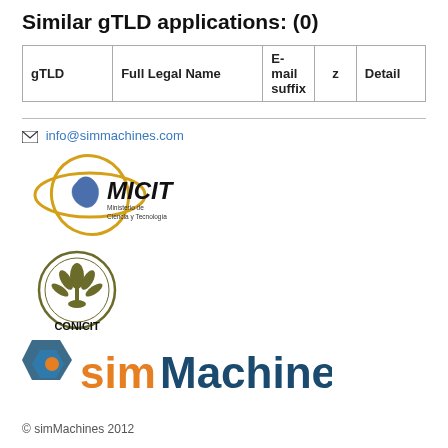Similar gTLD applications: (0)
| gTLD | Full Legal Name | E-mail suffix | z | Detail |
| --- | --- | --- | --- | --- |
✉ info@simmachines.com
[Figure (logo): MICIT - Ministerio de Ciencia y Tecnología logo with orbital rings and Costa Rica map]
[Figure (logo): CONICIT logo - circular emblem with plant/leaf design]
[Figure (logo): simMachines logo with geometric blue shape and orange/dark teal text]
© simMachines 2012